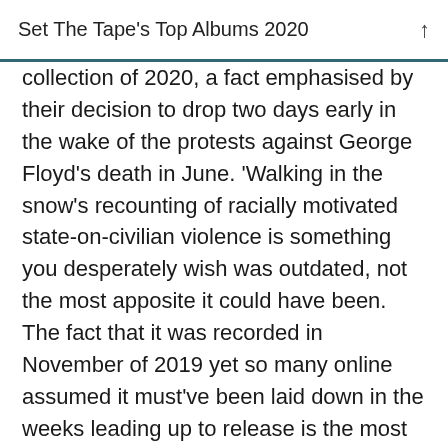Set The Tape's Top Albums 2020
collection of 2020, a fact emphasised by their decision to drop two days early in the wake of the protests against George Floyd's death in June. 'Walking in the snow's recounting of racially motivated state-on-civilian violence is something you desperately wish was outdated, not the most apposite it could have been. The fact that it was recorded in November of 2019 yet so many online assumed it must've been laid down in the weeks leading up to release is the most telling fact of all.
Throughout the collection of tracks, Mike